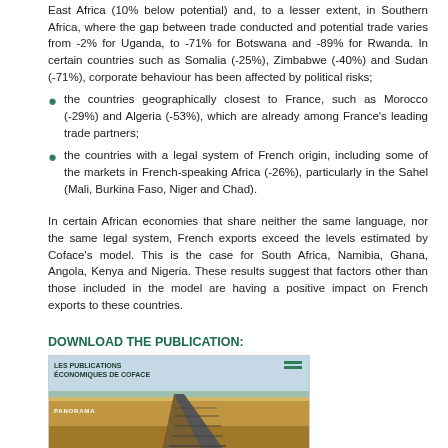East Africa (10% below potential) and, to a lesser extent, in Southern Africa, where the gap between trade conducted and potential trade varies from -2% for Uganda, to -71% for Botswana and -89% for Rwanda. In certain countries such as Somalia (-25%), Zimbabwe (-40%) and Sudan (-71%), corporate behaviour has been affected by political risks;
the countries geographically closest to France, such as Morocco (-29%) and Algeria (-53%), which are already among France's leading trade partners;
the countries with a legal system of French origin, including some of the markets in French-speaking Africa (-26%), particularly in the Sahel (Mali, Burkina Faso, Niger and Chad).
In certain African economies that share neither the same language, nor the same legal system, French exports exceed the levels estimated by Coface's model. This is the case for South Africa, Namibia, Ghana, Angola, Kenya and Nigeria. These results suggest that factors other than those included in the model are having a positive impact on French exports to these countries.
DOWNLOAD THE PUBLICATION:
[Figure (photo): Cover image of 'Les Publications Economiques de Coface' Panorama publication, showing a railway track in a desert landscape with sky background.]